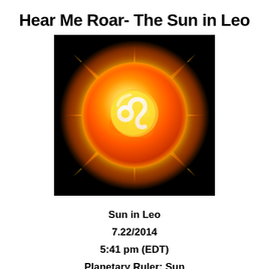Hear Me Roar- The Sun in Leo
[Figure (illustration): Glowing orange sun with bright corona rays against black background, with Leo zodiac symbol overlaid in the center]
Sun in Leo
7.22/2014
5:41 pm (EDT)
Planetary Ruler: Sun